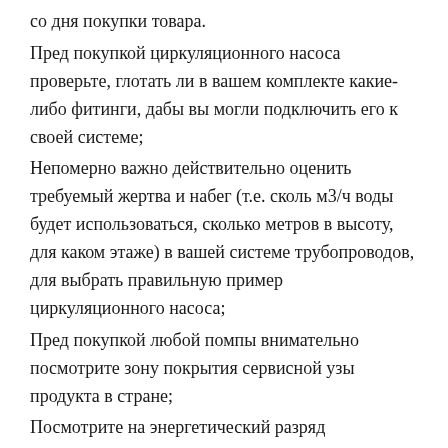со дня покупки товара.
Пред покупкой циркуляционного насоса проверьте, глотать ли в вашем комплекте какие-либо фитинги, дабы вы могли подключить его к своей системе;
Непомерно важно действительно оценить требуемый жертва и набег (т.е. сколь м3/ч воды будет использоваться, сколько метров в высоту, для каком этаже) в вашей системе трубопроводов, для выбрать правильную пример циркуляционного насоса;
Пред покупкой любой помпы внимательно посмотрите зону покрытия сервисной узы продукта в стране;
Посмотрите на энергетический разряд